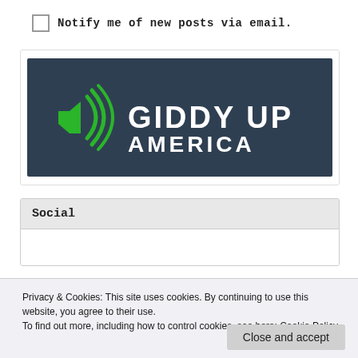Notify me of new posts via email.
[Figure (logo): Giddy Up America logo: dark navy background with green speaker/sound icon on left and white bold text 'GIDDY UP AMERICA' on right]
Social
Privacy & Cookies: This site uses cookies. By continuing to use this website, you agree to their use.
To find out more, including how to control cookies, see here: Cookie Policy
Close and accept